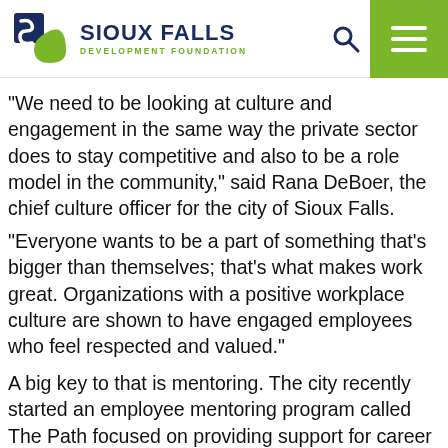Sioux Falls Development Foundation
“We need to be looking at culture and engagement in the same way the private sector does to stay competitive and also to be a role model in the community,” said Rana DeBoer, the chief culture officer for the city of Sioux Falls.
“Everyone wants to be a part of something that’s bigger than themselves; that’s what makes work great. Organizations with a positive workplace culture are shown to have engaged employees who feel respected and valued.”
A big key to that is mentoring. The city recently started an employee mentoring program called The Path focused on providing support for career and